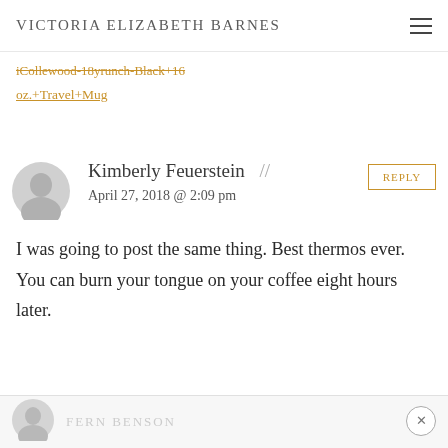Victoria Elizabeth Barnes
iCollewood-18yrunch-Black+16oz.+Travel+Mug
Kimberly Feuerstein // April 27, 2018 @ 2:09 pm
I was going to post the same thing. Best thermos ever. You can burn your tongue on your coffee eight hours later.
FERN BENSON